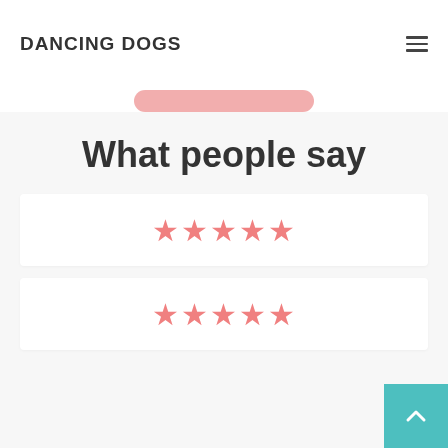DANCING DOGS
[Figure (illustration): Pink rounded pill/button shape, partially visible at top of content area]
What people say
★★★★★ (5 pink stars rating, first review card)
★★★★★ (5 pink stars rating, second review card)